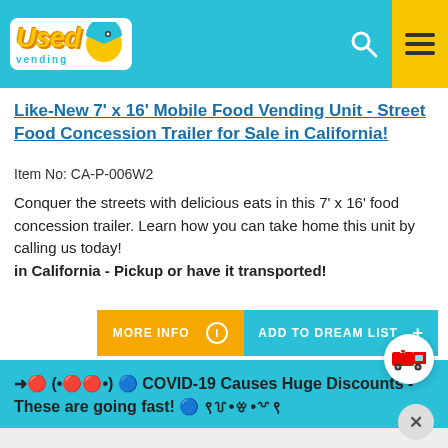Used Vending [logo header with search and menu icons]
Like-New 7' x 16' Mobile Food Vending Unit - Street Food Concession Trailer for Sale in California!
Item No: CA-P-006W2
Conquer the streets with delicious eats in this 7' x 16' food concession trailer. Learn how you can take home this unit by calling us today!
in California - Pickup or have it transported!
[Figure (other): Two buttons: orange MORE INFO button with info icon, and teal ADD TO DREAM LIST button with plus icon. Red emergency truck icon in white circle.]
→🔴 (•🔴🔴•) 🔵 COVID-19 Causes Huge Discounts - These are going fast! 🔵 ९꒦•ꈊ•꒷९
[Figure (other): Bottom area showing partial image of food trailer, with close (X) circle button at bottom right.]